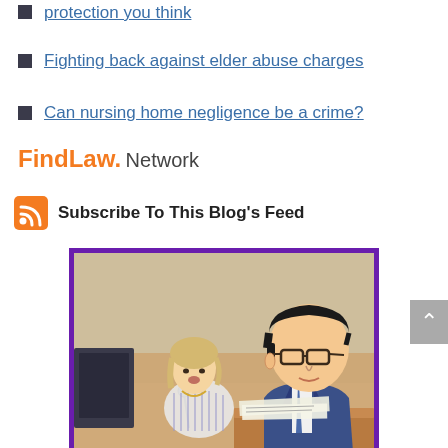protection you think
Fighting back against elder abuse charges
Can nursing home negligence be a crime?
FindLaw. Network
Subscribe To This Blog's Feed
[Figure (illustration): Courtroom sketch showing two people: a blonde woman at a witness stand/microphone and a man in a blue suit with glasses reviewing documents, with handwritten caption at the bottom.]